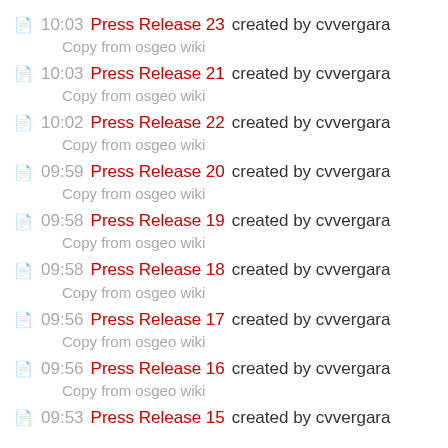10:03 Press Release 23 created by cvvergara — Copy from osgeo wiki
10:03 Press Release 21 created by cvvergara — Copy from osgeo wiki
10:02 Press Release 22 created by cvvergara — Copy from osgeo wiki
09:59 Press Release 20 created by cvvergara — Copy from osgeo wiki
09:58 Press Release 19 created by cvvergara — Copy from osgeo wiki
09:58 Press Release 18 created by cvvergara — Copy from osgeo wiki
09:56 Press Release 17 created by cvvergara — Copy from osgeo wiki
09:56 Press Release 16 created by cvvergara — Copy from osgeo wiki
09:53 Press Release 15 created by cvvergara